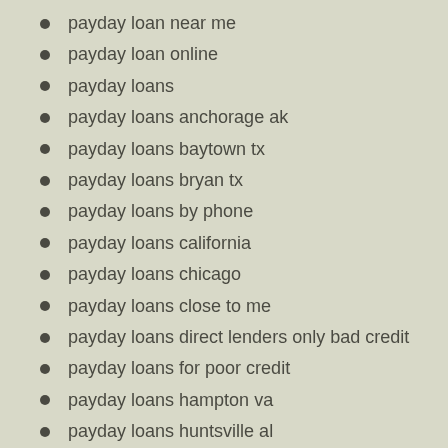payday loan near me
payday loan online
payday loans
payday loans anchorage ak
payday loans baytown tx
payday loans bryan tx
payday loans by phone
payday loans california
payday loans chicago
payday loans close to me
payday loans direct lenders only bad credit
payday loans for poor credit
payday loans hampton va
payday loans huntsville al
payday loans in houston